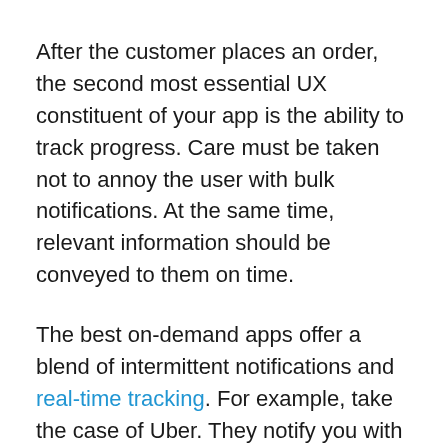After the customer places an order, the second most essential UX constituent of your app is the ability to track progress. Care must be taken not to annoy the user with bulk notifications. At the same time, relevant information should be conveyed to them on time.
The best on-demand apps offer a blend of intermittent notifications and real-time tracking. For example, take the case of Uber. They notify you with text messages when your driver is arriving soon, and when they've arrived. The ride hailing apps give you the